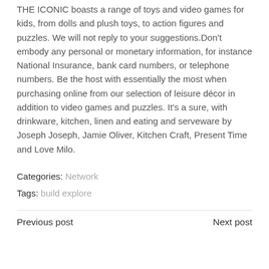THE ICONIC boasts a range of toys and video games for kids, from dolls and plush toys, to action figures and puzzles. We will not reply to your suggestions.Don't embody any personal or monetary information, for instance National Insurance, bank card numbers, or telephone numbers. Be the host with essentially the most when purchasing online from our selection of leisure décor in addition to video games and puzzles. It's a sure, with drinkware, kitchen, linen and eating and serveware by Joseph Joseph, Jamie Oliver, Kitchen Craft, Present Time and Love Milo.
Categories: Network
Tags: build explore
Previous post
Next post